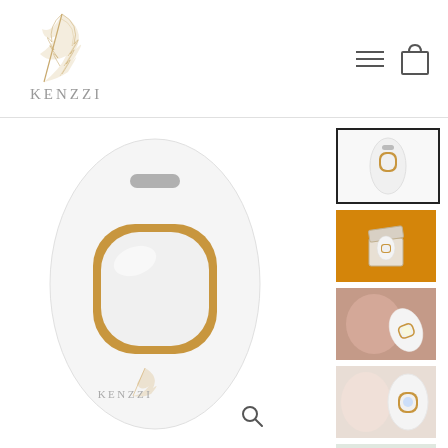[Figure (logo): Kenzzi brand logo with golden feather/leaf illustration above the brand name KENZZI in grey serif letters]
[Figure (other): Navigation icons: hamburger menu lines and shopping bag outline]
[Figure (photo): Main product photo: white oval-shaped Kenzzi IPL hair removal device with gold accent trim around the large oval window and Kenzzi branding on front, on white background]
[Figure (photo): Thumbnail 1 (selected): Kenzzi IPL device front view on white background, with black border frame]
[Figure (photo): Thumbnail 2: Kenzzi device in open box on orange/amber background]
[Figure (photo): Thumbnail 3: Person using Kenzzi IPL device on face/chin area]
[Figure (photo): Thumbnail 4: Person using Kenzzi IPL device on underarm area]
[Figure (other): Thumbnail 5: partially visible at bottom right]